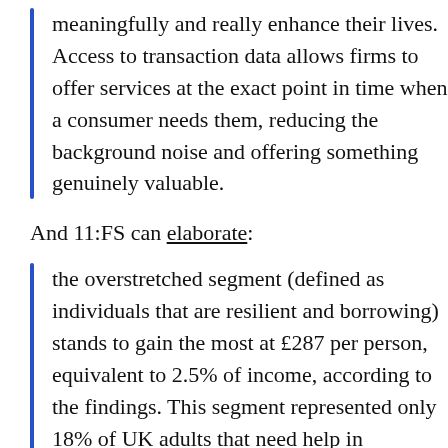meaningfully and really enhance their lives. Access to transaction data allows firms to offer services at the exact point in time when a consumer needs them, reducing the background noise and offering something genuinely valuable.
And 11:FS can elaborate:
the overstretched segment (defined as individuals that are resilient and borrowing) stands to gain the most at £287 per person, equivalent to 2.5% of income, according to the findings. This segment represented only 18% of UK adults that need help in improving financial security and managing debt.
In this instance, some of the existing Open